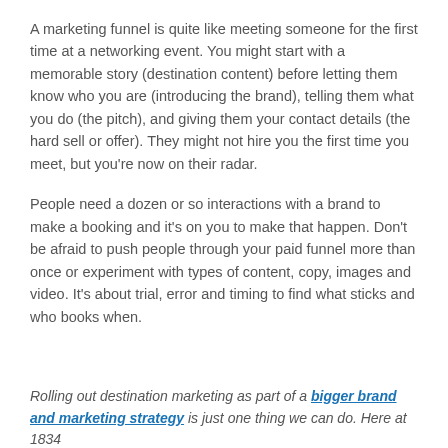A marketing funnel is quite like meeting someone for the first time at a networking event. You might start with a memorable story (destination content) before letting them know who you are (introducing the brand), telling them what you do (the pitch), and giving them your contact details (the hard sell or offer). They might not hire you the first time you meet, but you're now on their radar.
People need a dozen or so interactions with a brand to make a booking and it's on you to make that happen. Don't be afraid to push people through your paid funnel more than once or experiment with types of content, copy, images and video. It's about trial, error and timing to find what sticks and who books when.
Rolling out destination marketing as part of a bigger brand and marketing strategy is just one thing we can do. Here at 1834 Hotels, we help hotels best their industry by aligning their...